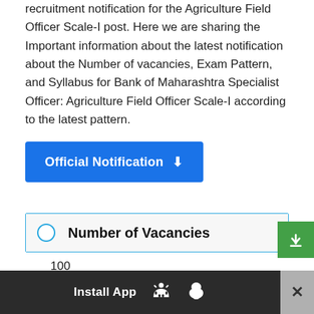recruitment notification for the Agriculture Field Officer Scale-I post. Here we are sharing the Important information about the latest notification about the Number of vacancies, Exam Pattern, and Syllabus for Bank of Maharashtra Specialist Officer: Agriculture Field Officer Scale-I according to the latest pattern.
Official Notification ⬇
Number of Vacancies
100
Important Dates
Install App